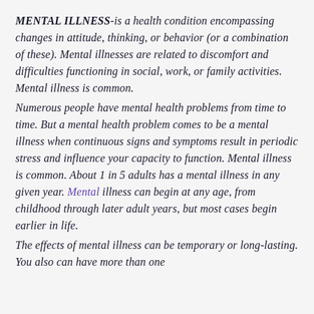MENTAL ILLNESS-is a health condition encompassing changes in attitude, thinking, or behavior (or a combination of these). Mental illnesses are related to discomfort and difficulties functioning in social, work, or family activities. Mental illness is common. Numerous people have mental health problems from time to time. But a mental health problem comes to be a mental illness when continuous signs and symptoms result in periodic stress and influence your capacity to function. Mental illness is common. About 1 in 5 adults has a mental illness in any given year. Mental illness can begin at any age, from childhood through later adult years, but most cases begin earlier in life. The effects of mental illness can be temporary or long-lasting. You also can have more than one mental health illness at any one time.